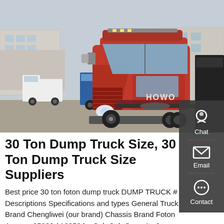[Figure (photo): A red HOWO semi-truck tractor unit parked in a yard, front-left view. Other trucks and industrial buildings visible in the background.]
30 Ton Dump Truck Size, 30 Ton Dump Truck Size Suppliers
Best price 30 ton foton dump truck DUMP TRUCK # Descriptions Specifications and types General Truck Brand Chengliwei (our brand) Chassis Brand Foton Approx. 25000 / 12350 kg Cab Cab Capacity 3 persons' seat Air Conditioner Air Conditioner is